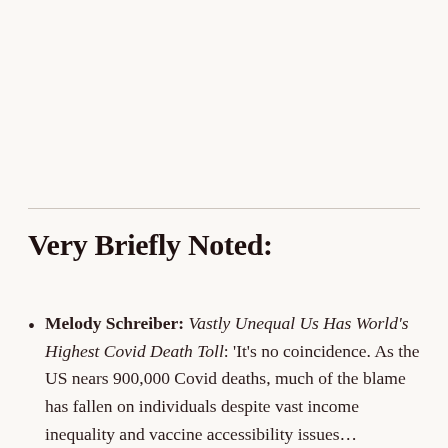Very Briefly Noted:
Melody Schreiber: Vastly Unequal Us Has World's Highest Covid Death Toll: 'It's no coincidence. As the US nears 900,000 Covid deaths, much of the blame has fallen on individuals despite vast income inequality and vaccine accessibility issues...